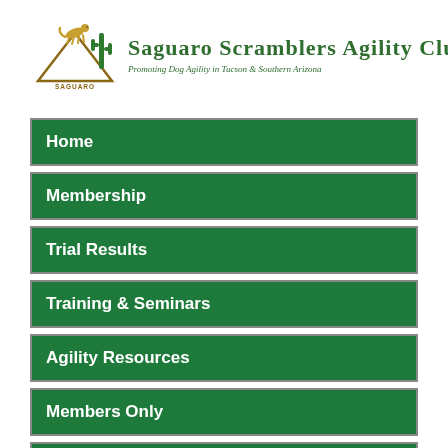[Figure (logo): Saguaro Scramblers Agility Club logo with a cheetah over a mountain and a saguaro cactus illustration]
Saguaro Scramblers Agility Club
Promoting Dog Agility in Tucson & Southern Arizona
Home
Membership
Trial Results
Training & Seminars
Agility Resources
Members Only
Contact Us